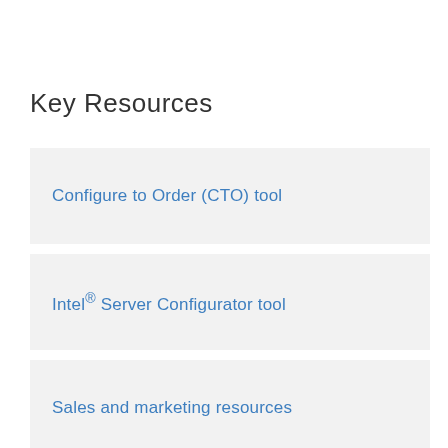Key Resources
Configure to Order (CTO) tool
Intel® Server Configurator tool
Sales and marketing resources
Find a supplier